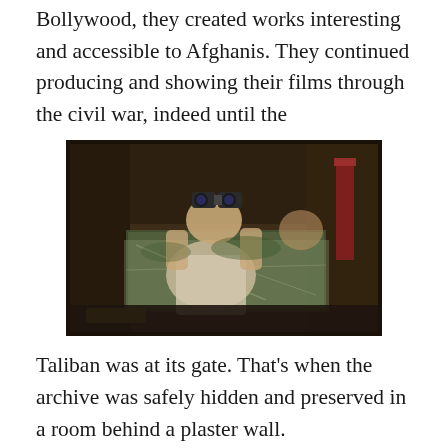Bollywood, they created works interesting and accessible to Afghanis. They continued producing and showing their films through the civil war, indeed until the
[Figure (photo): A person inside a vehicle looking through binoculars, viewed from the side. The vehicle has a windshield and the scene appears to be from a film.]
Taliban was at its gate. That’s when the archive was safely hidden and preserved in a room behind a plaster wall.
This amazing documentary tells the history of modern Afghanistan through these films. I’m talking romances, war stories, battles, dramas and newsreels. The cameramen were recoding missiles landing in Kabul. Films made